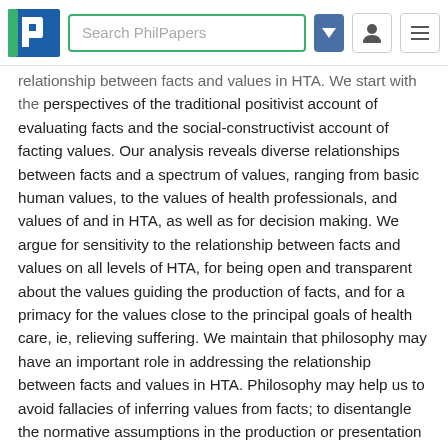Search PhilPapers
relationship between facts and values in HTA. We start with the perspectives of the traditional positivist account of evaluating facts and the social-constructivist account of facting values. Our analysis reveals diverse relationships between facts and a spectrum of values, ranging from basic human values, to the values of health professionals, and values of and in HTA, as well as for decision making. We argue for sensitivity to the relationship between facts and values on all levels of HTA, for being open and transparent about the values guiding the production of facts, and for a primacy for the values close to the principal goals of health care, ie, relieving suffering. We maintain that philosophy may have an important role in addressing the relationship between facts and values in HTA. Philosophy may help us to avoid fallacies of inferring values from facts; to disentangle the normative assumptions in the production or presentation of facts and to tease out implicit value judgements in HTA; to analyse evaluative argumentation relating to facts about technologies; to address conceptual issues of normative importance; and to promote reflection on HTAs own value